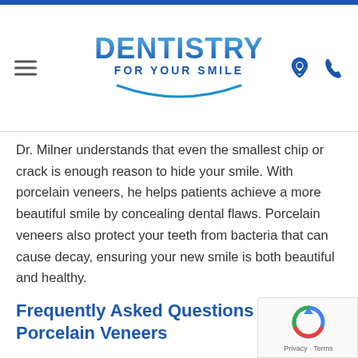DENTISTRY FOR YOUR SMILE
Dr. Milner understands that even the smallest chip or crack is enough reason to hide your smile. With porcelain veneers, he helps patients achieve a more beautiful smile by concealing dental flaws. Porcelain veneers also protect your teeth from bacteria that can cause decay, ensuring your new smile is both beautiful and healthy.
Frequently Asked Questions about Porcelain Veneers
Am I a good candidate for porcelain veneers?